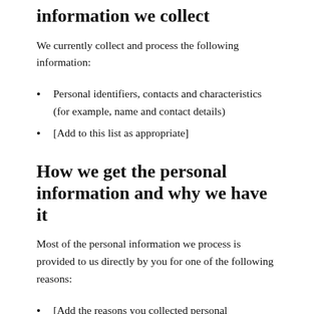information we collect
We currently collect and process the following information:
Personal identifiers, contacts and characteristics (for example, name and contact details)
[Add to this list as appropriate]
How we get the personal information and why we have it
Most of the personal information we process is provided to us directly by you for one of the following reasons:
[Add the reasons you collected personal information]